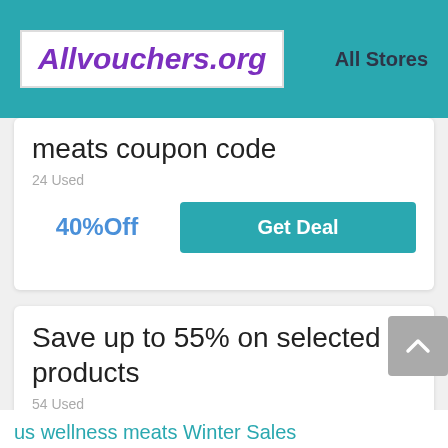Allvouchers.org | All Stores
meats coupon code
24 Used
40%Off
Get Deal
Save up to 55% on selected products
54 Used
55%Off
Get Deal
us wellness meats Winter Sales